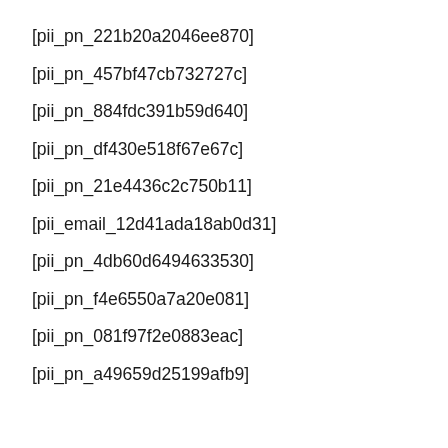[pii_pn_221b20a2046ee870]
[pii_pn_457bf47cb732727c]
[pii_pn_884fdc391b59d640]
[pii_pn_df430e518f67e67c]
[pii_pn_21e4436c2c750b11]
[pii_email_12d41ada18ab0d31]
[pii_pn_4db60d6494633530]
[pii_pn_f4e6550a7a20e081]
[pii_pn_081f97f2e0883eac]
[pii_pn_a49659d25199afb9]